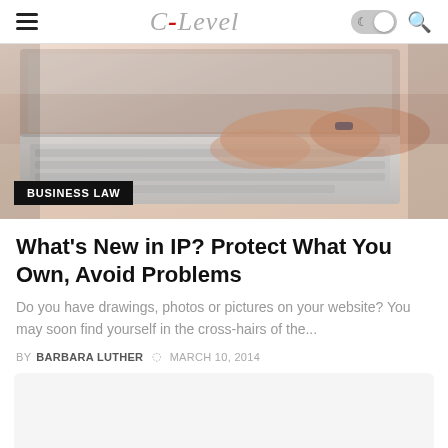C-Level
[Figure (photo): Close-up photo of hands typing on a laptop keyboard, article hero image with BUSINESS LAW badge overlay]
What's New in IP? Protect What You Own, Avoid Problems
Do you have drawings, photos or pictures on your website? You may soon find yourself in the cross-hairs of the...
BY BARBARA LUTHER  MARCH 10, 2014